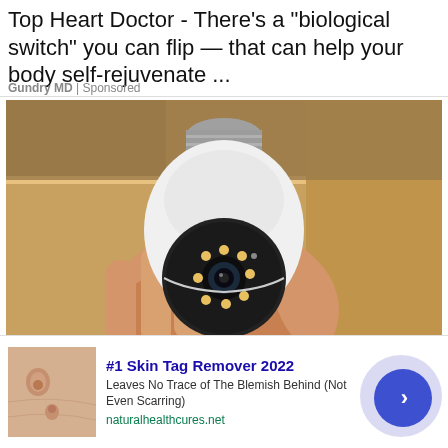Top Heart Doctor - There's a “biological switch” you can flip — that can help your body self-rejuvenate ...
Gundry MD | Sponsored
[Figure (photo): A hand holding a white light bulb-shaped security camera with a black camera lens and LED lights around it, against a wooden shelf background.]
[Figure (photo): Thumbnail of skin showing skin tags for the advertisement.]
#1 Skin Tag Remover 2022
Leaves No Trace of The Blemish Behind (Not Even Scarring)
naturalhealthcures.net